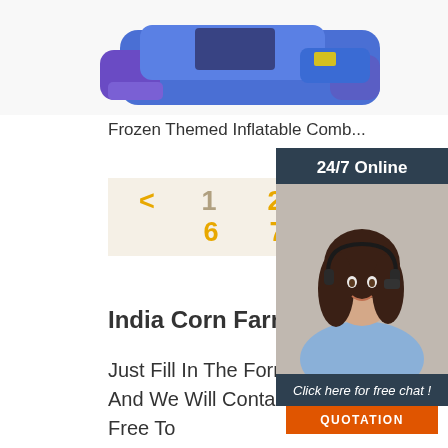[Figure (photo): Blue and purple inflatable combo bouncer/slide product photo, partially cropped at top]
Frozen Themed Inflatable Comb...
< 1 2 3 4 ... 6 7 >
India Corn Farm Inflatable Comb...
Just Fill In The Form Below, Click Submit, You Will Get The Price List, And We Will Contact You Within One Working Day. Please Also Feel Free To
[Figure (photo): 24/7 Online chat widget with female customer service representative wearing headset, with 'Click here for free chat!' message and orange QUOTATION button]
[Figure (logo): TOP button overlay with orange dots and text TOP]